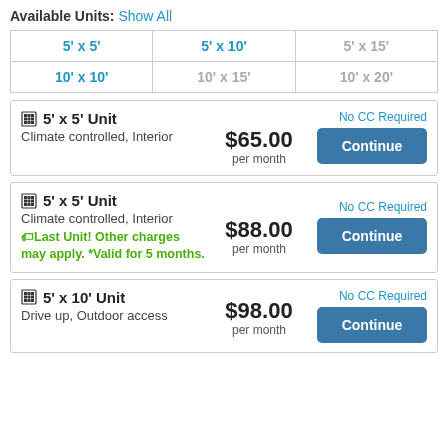Available Units: Show All
| 5' x 5' | 5' x 10' | 5' x 15' | 10' x 10' | 10' x 15' | 10' x 20' |
| --- | --- | --- | --- | --- | --- |
| 5' x 5' | 5' x 10' | 5' x 15' |
| 10' x 10' | 10' x 15' | 10' x 20' |
🏢 5' x 5' Unit
Climate controlled, Interior
$65.00 per month
No CC Required
Continue
🏢 5' x 5' Unit
Climate controlled, Interior
Last Unit! Other charges may apply. *Valid for 5 months.
$88.00 per month
No CC Required
Continue
🏢 5' x 10' Unit
Drive up, Outdoor access
$98.00 per month
No CC Required
Continue